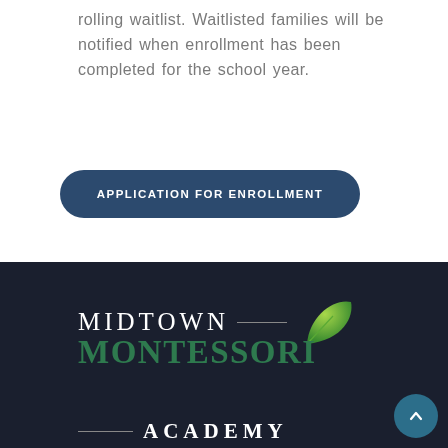rolling waitlist. Waitlisted families will be notified when enrollment has been completed for the school year.
APPLICATION FOR ENROLLMENT
[Figure (logo): Midtown Montessori Academy logo with a green leaf graphic. Text reads 'MIDTOWN' in white serif, 'MONTESSORI' in green bold serif, and 'ACADEMY' in white serif, with horizontal rules flanking the logo elements.]